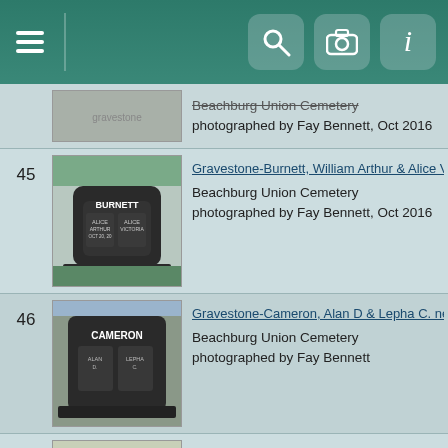Navigation bar with menu, search, camera, and info icons
[partial] Beachburg Union Cemetery photographed by Fay Bennett, Oct 2016
45 Gravestone-Burnett, William Arthur & Alice Victoria S. Beachburg Union Cemetery photographed by Fay Bennett, Oct 2016
46 Gravestone-Cameron, Alan D & Lepha C. nee McBr... Beachburg Union Cemetery photographed by Fay Bennett
47 Gravestone-Cameron, Eva Joy; McLean, Gillan Beachburg Union Cemetery, Beachburg, ON photographed by Fay Bennett, June 2016
48 Gravestone-Cameron, Malcolm & Jane Cline (close... Beachburg Union Cemetery, Beachburg, ON photographed by Fay Bennett, June 2016
49 Gravestone-Cameron, Malcolm & Jane nee Cline Beachburg Union Cemetery, Beachburg, ON